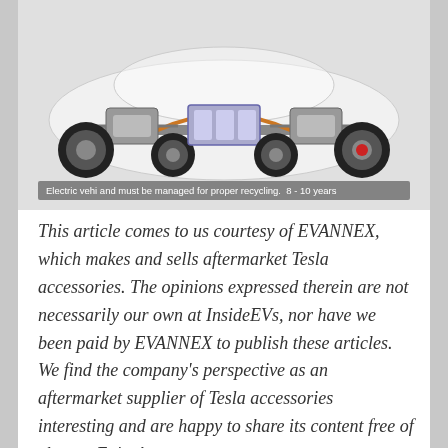[Figure (photo): Electric vehicle chassis cutaway showing drivetrain components including motor, battery pack, and wheels on a transparent car body]
Electric vehi and must be managed for proper recycling. 8 - 10 years
This article comes to us courtesy of EVANNEX, which makes and sells aftermarket Tesla accessories. The opinions expressed therein are not necessarily our own at InsideEVs, nor have we been paid by EVANNEX to publish these articles. We find the company's perspective as an aftermarket supplier of Tesla accessories interesting and are happy to share its content free of charge. Enjoy!